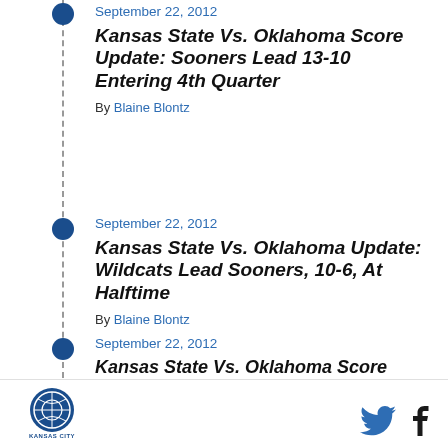September 22, 2012
Kansas State Vs. Oklahoma Score Update: Sooners Lead 13-10 Entering 4th Quarter
By Blaine Blontz
September 22, 2012
Kansas State Vs. Oklahoma Update: Wildcats Lead Sooners, 10-6, At Halftime
By Blaine Blontz
September 22, 2012
Kansas State Vs. Oklahoma Score Update: Wildcats Struggle To Gain Early Momentum,
Kansas City | Twitter | Facebook